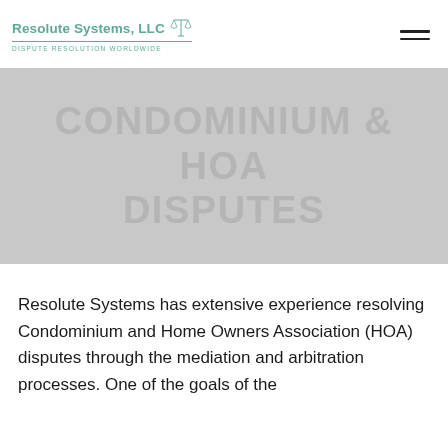[Figure (logo): Resolute Systems, LLC logo with scales of justice icon and tagline 'Dispute Resolution Worldwide']
[Figure (other): Hamburger menu icon (three horizontal lines)]
CONDOMINIUM & HOA DISPUTES
Resolute Systems has extensive experience resolving Condominium and Home Owners Association (HOA) disputes through the mediation and arbitration processes. One of the goals of the